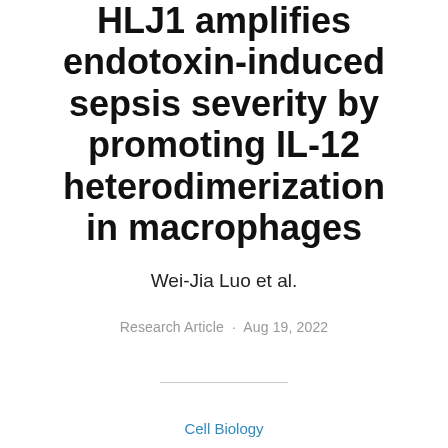HLJ1 amplifies endotoxin-induced sepsis severity by promoting IL-12 heterodimerization in macrophages
Wei-Jia Luo et al.
Research Article · Aug 19, 2022
Cell Biology